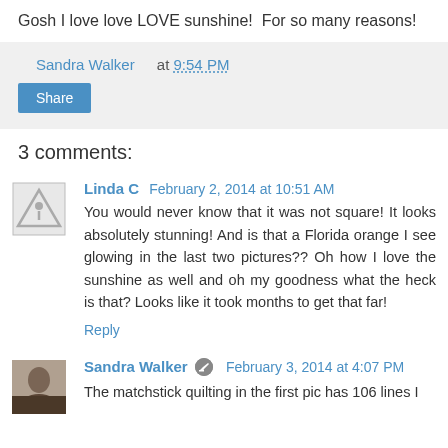Gosh I love love LOVE sunshine!  For so many reasons!
Sandra Walker at 9:54 PM
Share
3 comments:
Linda C  February 2, 2014 at 10:51 AM
You would never know that it was not square! It looks absolutely stunning! And is that a Florida orange I see glowing in the last two pictures?? Oh how I love the sunshine as well and oh my goodness what the heck is that? Looks like it took months to get that far!
Reply
Sandra Walker  February 3, 2014 at 4:07 PM
The matchstick quilting in the first pic has 106 lines I